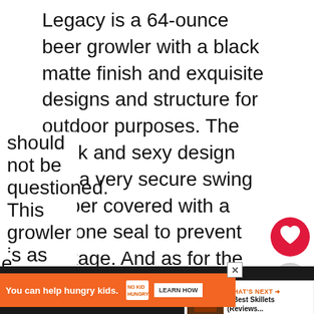Legacy is a 64-ounce beer growler with a black matte finish and exquisite designs and structure for outdoor purposes. The sleek and sexy design has a very secure swing topper covered with a silicone seal to prevent leakage. And as for the bottom, it is structured to maintain balance and stability.
Legacy is great for picnics, BBQ parties, camping, hiking, and whatever outdoor event you have planned for the summer. The 4.5 diameter width and 11 inches length creates room for 64 ounces of beer. Even though Legacy is pleasing to the eye, its functionality should not be questioned. This growler is as
[Figure (screenshot): Social media overlay buttons: heart (red circle) and share (grey circle with share icon)]
[Figure (infographic): What's Next panel showing '5 Best Skillets (Reviews...' with a food image thumbnail]
[Figure (infographic): Advertisement banner: orange background, text 'You can help hungry kids.' with NOKID HUNGRY logo and LEARN HOW button. Black bar at bottom with partial cut text and logo.]